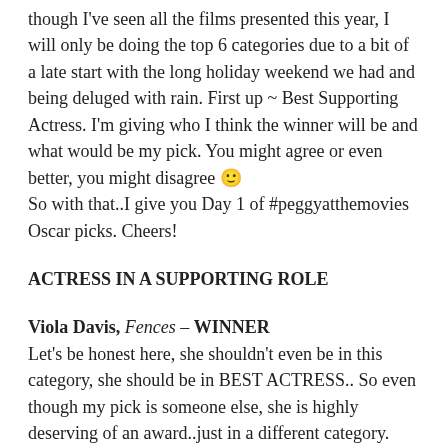though I've seen all the films presented this year, I will only be doing the top 6 categories due to a bit of a late start with the long holiday weekend we had and being deluged with rain. First up ~ Best Supporting Actress. I'm giving who I think the winner will be and what would be my pick. You might agree or even better, you might disagree 🙂
So with that..I give you Day 1 of #peggyatthemovies Oscar picks. Cheers!
ACTRESS IN A SUPPORTING ROLE
Viola Davis, Fences – WINNER
Let's be honest here, she shouldn't even be in this category, she should be in BEST ACTRESS.. So even though my pick is someone else, she is highly deserving of an award..just in a different category.
Naomie Harris, Moonlight
Liked her performance...just didn't love it. Definitely worthy of